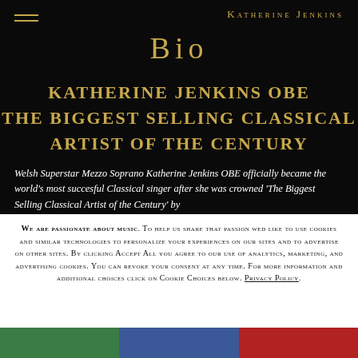Katherine Jenkins
BIO
KATHERINE JENKINS OBE THE BIGGEST SELLING CLASSICAL ARTIST OF THE CENTURY
Welsh Superstar Mezzo Soprano Katherine Jenkins OBE officially became the world's most succesful Classical singer after she was crowned 'The Biggest Selling Classical Artist of the Century' by
We are passionate about music. To help us share that passion wed like to use cookies and similar technologies to personalize your experiences on our sites and to advertise on other sites. By clicking Accept All you agree to our use of analytics, marketing, and advertising cookies. You can revoke your consent at any time. For more information and additional choices click on Cookie Choices below. Privacy Policy.